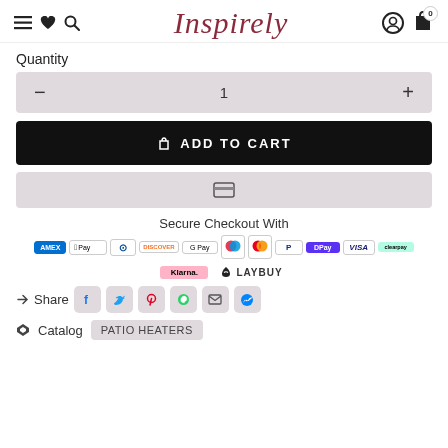Inspirely
Quantity
− 1 +
ADD TO CART
Secure Checkout With
[Figure (logo): Payment method logos: AMEX, Apple Pay, Diners, Discover, Google Pay, Maestro, Mastercard, PayPal, DPay, VISA, Afterpay, Klarna, Laybuy]
Share
Catalog   PATIO HEATERS